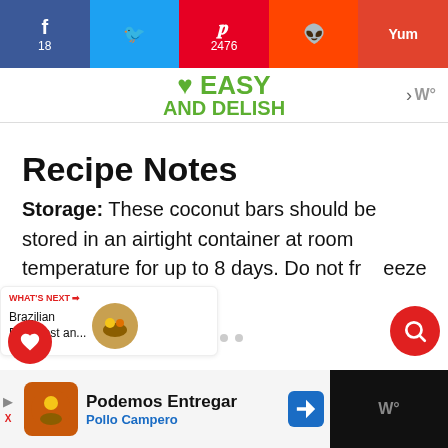f 18  [Twitter]  p 2476  [Reddit]  Yum — Easy and Delish
Recipe Notes
Storage: These coconut bars should be stored in an airtight container at room temperature for up to 8 days. Do not freeze or refrigerate!
Podemos Entregar — Pollo Campero